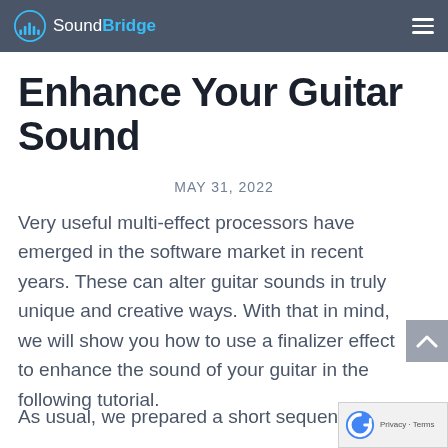SoundBridge
Enhance Your Guitar Sound
MAY 31, 2022
Very useful multi-effect processors have emerged in the software market in recent years. These can alter guitar sounds in truly unique and creative ways. With that in mind, we will show you how to use a finalizer effect to enhance the sound of your guitar in the following tutorial.
As usual, we prepared a short sequence in the SoundBridge DAW. It is also one of the